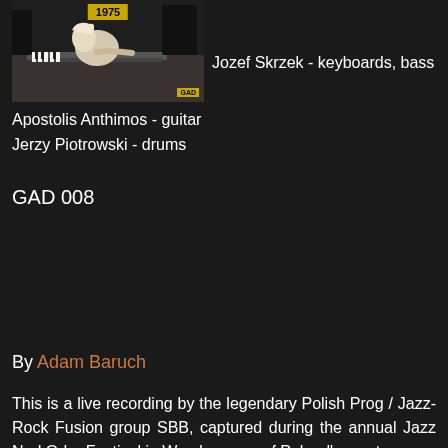[Figure (photo): Black and white photo of a musician at a keyboard/piano from 1975, with '1975' text badge at top and 'GAD' badge at bottom right]
Jozef Skrzek - keyboards, bass
Apostolis Anthimos - guitar
Jerzy Piotrowski - drums
GAD 008
By Adam Baruch
This is a live recording by the legendary Polish Prog / Jazz-Rock Fusion group SBB, captured during the annual Jazz Nad Odra Festival in Wroclaw, one of Poland's most